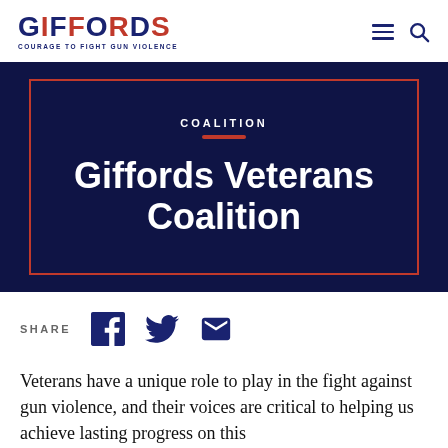GIFFORDS — COURAGE TO FIGHT GUN VIOLENCE
[Figure (illustration): Giffords Veterans Coalition hero banner with dark navy background, red border rectangle, COALITION label, red underline bar, and large white bold title text 'Giffords Veterans Coalition']
SHARE
Veterans have a unique role to play in the fight against gun violence, and their voices are critical to helping us achieve lasting progress on this